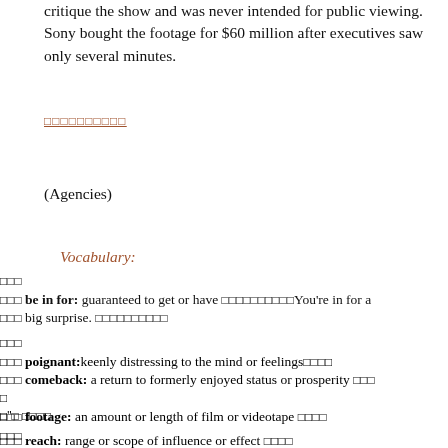critique the show and was never intended for public viewing. Sony bought the footage for $60 million after executives saw only several minutes.
[hyperlink - red underlined text in CJK characters]
(Agencies)
Vocabulary:
be in for: guaranteed to get or have [CJK] You're in for a big surprise. [CJK]
poignant: keenly distressing to the mind or feelings [CJK]
comeback: a return to formerly enjoyed status or prosperity [CJK]
footage: an amount or length of film or videotape [CJK]
reach: range or scope of influence or effect [CJK]